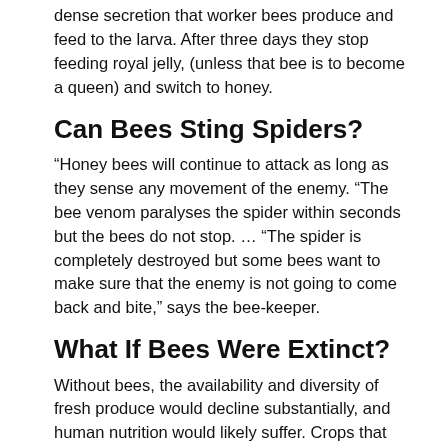dense secretion that worker bees produce and feed to the larva. After three days they stop feeding royal jelly, (unless that bee is to become a queen) and switch to honey.
Can Bees Sting Spiders?
“Honey bees will continue to attack as long as they sense any movement of the enemy. “The bee venom paralyses the spider within seconds but the bees do not stop. … “The spider is completely destroyed but some bees want to make sure that the enemy is not going to come back and bite,” says the bee-keeper.
What If Bees Were Extinct?
Without bees, the availability and diversity of fresh produce would decline substantially, and human nutrition would likely suffer. Crops that would not be cost-effective to hand- or robot-pollinate would likely be lost or persist only with the dedication of human hobbyists.
Why Does Electricity Need A Circuit?
An electric current is the overall movement of charged